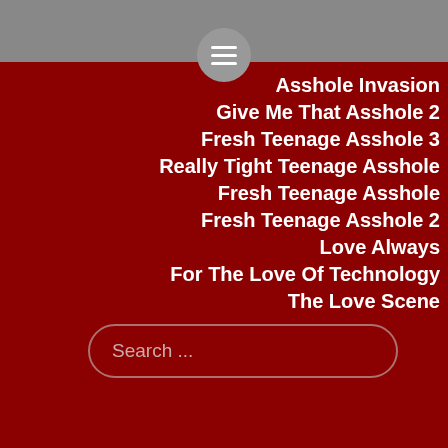Asshole Invasion
Give Me That Asshole 2
Fresh Teenage Asshole 3
Really Tight Teenage Asshole
Fresh Teenage Asshole
Fresh Teenage Asshole 2
Love Always
For The Love Of Technology
The Love Scene
Search ...